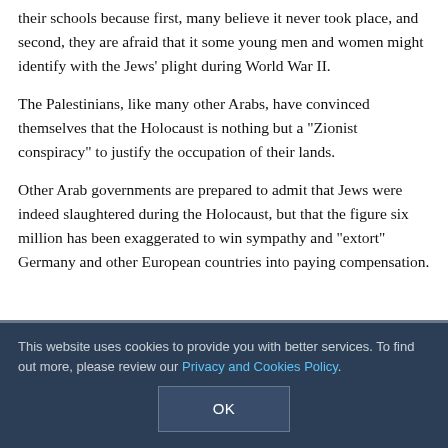their schools because first, many believe it never took place, and second, they are afraid that it some young men and women might identify with the Jews' plight during World War II.
The Palestinians, like many other Arabs, have convinced themselves that the Holocaust is nothing but a "Zionist conspiracy" to justify the occupation of their lands.
Other Arab governments are prepared to admit that Jews were indeed slaughtered during the Holocaust, but that the figure six million has been exaggerated to win sympathy and "extort" Germany and other European countries into paying compensation.
by the IDF and settlers in the West Bank and Gaza Strip. But when was the last time one read an article in a Palestinian or Arab newspaper about the suffering on the
This website uses cookies to provide you with better services. To find out more, please review our Privacy and Cookies Policy.